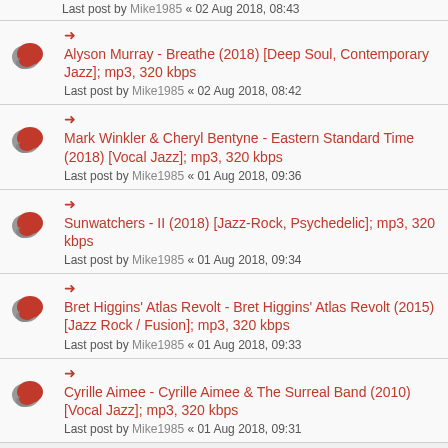Last post by Mike1985 « 02 Aug 2018, 08:43
Alyson Murray - Breathe (2018) [Deep Soul, Contemporary Jazz]; mp3, 320 kbps
Last post by Mike1985 « 02 Aug 2018, 08:42
Mark Winkler & Cheryl Bentyne - Eastern Standard Time (2018) [Vocal Jazz]; mp3, 320 kbps
Last post by Mike1985 « 01 Aug 2018, 09:36
Sunwatchers - II (2018) [Jazz-Rock, Psychedelic]; mp3, 320 kbps
Last post by Mike1985 « 01 Aug 2018, 09:34
Bret Higgins' Atlas Revolt - Bret Higgins' Atlas Revolt (2015) [Jazz Rock / Fusion]; mp3, 320 kbps
Last post by Mike1985 « 01 Aug 2018, 09:33
Cyrille Aimee - Cyrille Aimee & The Surreal Band (2010) [Vocal Jazz]; mp3, 320 kbps
Last post by Mike1985 « 01 Aug 2018, 09:31